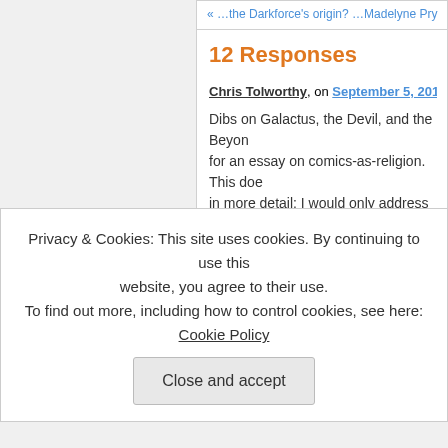« …the Darkforce's origin? …Madelyne Pry
12 Responses
Chris Tolworthy, on September 5, 2012 at 10:3
Dibs on Galactus, the Devil, and the Beyon for an essay on comics-as-religion. This do in more detail: I would only address the bro happened to be in the FF) because outside
Happily, the foundational texts for G and B a lot of detail for G, but I argue that all the ke the trial of reed Richards provides a way to I would also argue that the key texts for the not just because of some highly revealin
Privacy & Cookies: This site uses cookies. By continuing to use this website, you agree to their use. To find out more, including how to control cookies, see here: Cookie Policy
Close and accept